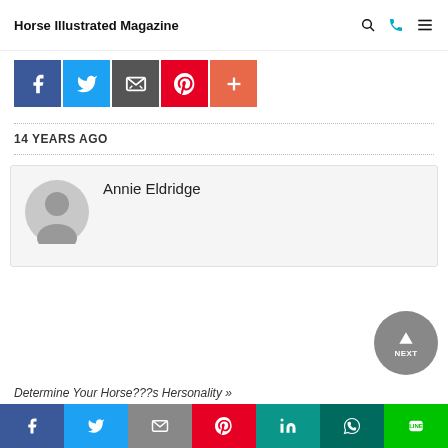Horse Illustrated Magazine
[Figure (infographic): Social share buttons: Facebook (blue), Twitter (light blue), Email/share (dark gray), Pinterest (red), More/plus (orange-red)]
14 YEARS AGO
Annie Eldridge
Determine Your Horse???s Hersonality »
[Figure (infographic): Bottom share bar with icons: Facebook (blue), Twitter (blue), Email (gray), Pinterest (red), LinkedIn (teal), WhatsApp (dark teal), Line (green)]